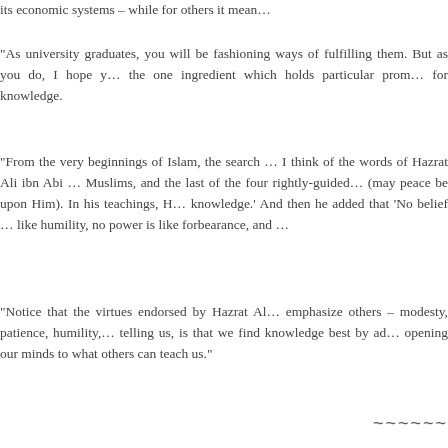its economic systems – while for others it mean…
“As university graduates, you will be fashioning ways of fulfilling them. But as you do, I hope y… the one ingredient which holds particular prom… for knowledge.
“From the very beginnings of Islam, the search … I think of the words of Hazrat Ali ibn Abi … Muslims, and the last of the four rightly-guided… (may peace be upon Him). In his teachings, H… knowledge.’ And then he added that ‘No belief … like humility, no power is like forbearance, and …
“Notice that the virtues endorsed by Hazrat Al… emphasize others – modesty, patience, humility,… telling us, is that we find knowledge best by ad… opening our minds to what others can teach us.”
~~~~~~